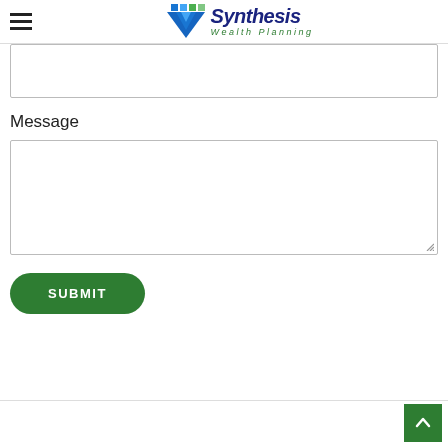[Figure (logo): Synthesis Wealth Planning logo with hamburger menu icon on the left. Logo features a downward-pointing triangle in blue/green/teal with 'Synthesis' in dark navy bold text and 'Wealth Planning' in italic green smaller text below.]
Message
SUBMIT